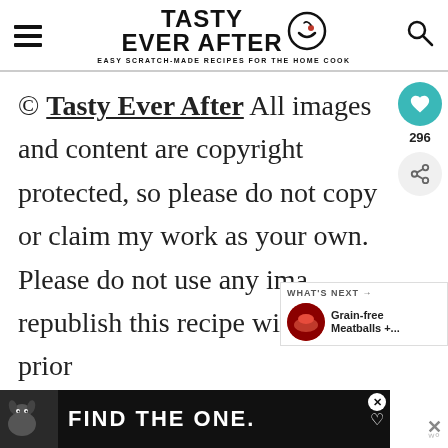Tasty Ever After — Easy Scratch-Made Recipes for the Home Cook
© Tasty Ever After All images and content are copyright protected, so please do not copy or claim my work as your own. Please do not use any images or republish this recipe without prior
[Figure (infographic): Social share widget showing heart/like button with count 296 and share button]
[Figure (infographic): What's Next widget showing Grain-free Meatballs +...]
[Figure (infographic): Ad banner: FIND THE ONE. with dog image]